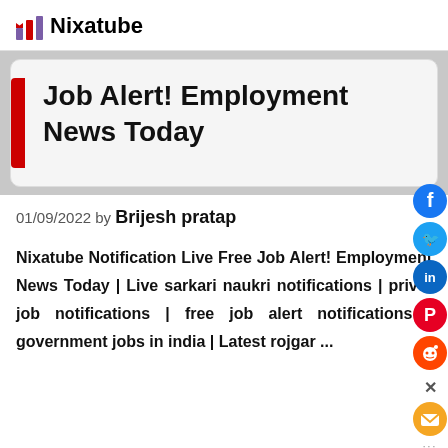Nixatube
Job Alert! Employment News Today
01/09/2022 by Brijesh pratap
Nixatube Notification Live Free Job Alert! Employment News Today | Live sarkari naukri notifications | privet job notifications | free job alert notifications | government jobs in india | Latest rojgar ...